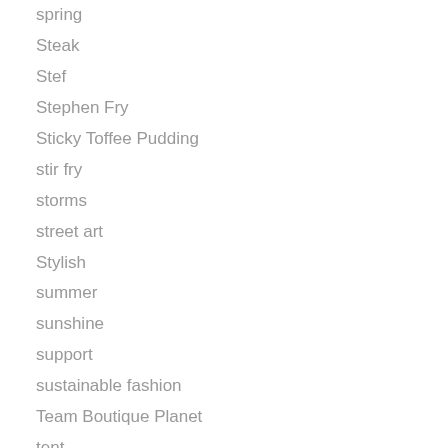spring
Steak
Stef
Stephen Fry
Sticky Toffee Pudding
stir fry
storms
street art
Stylish
summer
sunshine
support
sustainable fashion
Team Boutique Planet
tent